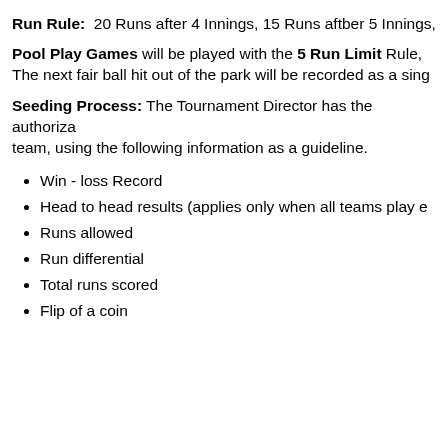Run Rule: 20 Runs after 4 Innings, 15 Runs aftber 5 Innings,
Pool Play Games will be played with the 5 Run Limit Rule, The next fair ball hit out of the park will be recorded as a sing
Seeding Process: The Tournament Director has the authoriza team, using the following information as a guideline.
Win - loss Record
Head to head results (applies only when all teams play e
Runs allowed
Run differential
Total runs scored
Flip of a coin